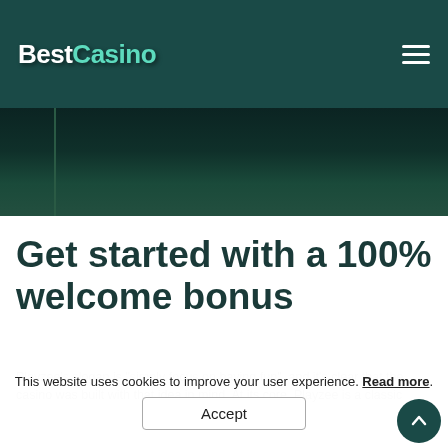BestCasino
[Figure (screenshot): Dark teal hero image area with a vertical bar on the left side]
Get started with a 100% welcome bonus
Playzee's slogan is "simply focus on having fun", and it's clear that the casino was built with that idea in mind. At its core, Playzee is a classic
This website uses cookies to improve your user experience. Read more.
Accept